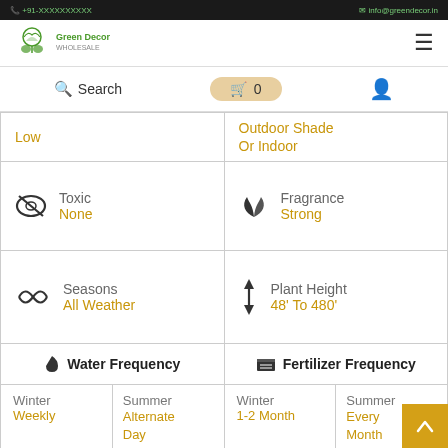Green Decor website header with logo, search, cart, and user icon
| Toxic / Light | Fragrance / Placement |
| --- | --- |
| Toxic: None | Fragrance: Strong |
| Seasons: All Weather | Plant Height: 48' To 480' |
| Water Frequency | Fertilizer Frequency |
| Winter: Weekly / Summer: Alternate Day | Winter: 1-2 Month / Summer: Every Month |